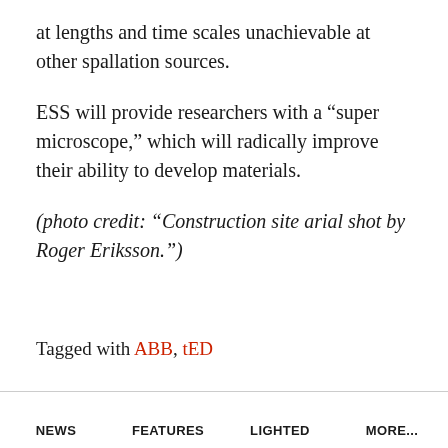at lengths and time scales unachievable at other spallation sources.
ESS will provide researchers with a “super microscope,” which will radically improve their ability to develop materials.
(photo credit: “Construction site arial shot by Roger Eriksson.”)
Tagged with ABB, tED
NEWS   FEATURES   LIGHTED   MORE...